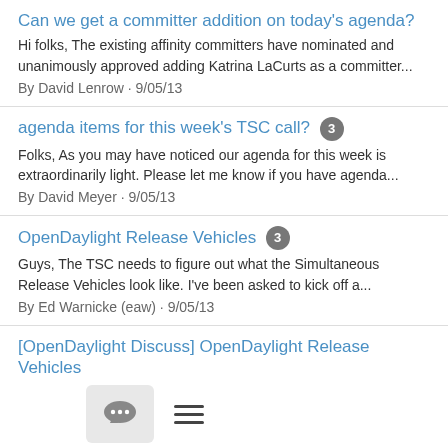Can we get a committer addition on today's agenda?
Hi folks, The existing affinity committers have nominated and unanimously approved adding Katrina LaCurts as a committer...
By David Lenrow · 9/05/13
agenda items for this week's TSC call? 3
Folks, As you may have noticed our agenda for this week is extraordinarily light. Please let me know if you have agenda...
By David Meyer · 9/05/13
OpenDaylight Release Vehicles 3
Guys, The TSC needs to figure out what the Simultaneous Release Vehicles look like. I've been asked to kick off a...
By Ed Warnicke (eaw) · 9/05/13
[OpenDaylight Discuss] OpenDaylight Release Vehicles
Open Daylight Premiere Edition (or for literary geek points, Open
[Figure (other): Bottom navigation bar with a speech bubble chat icon button and a hamburger menu icon]